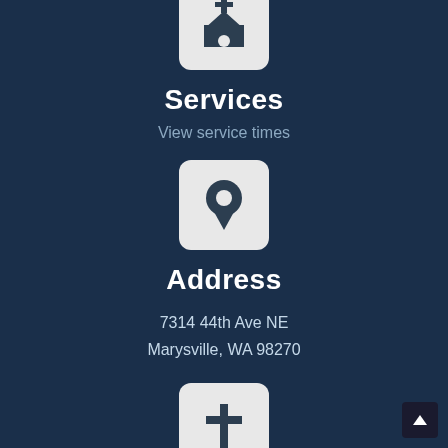[Figure (illustration): Church building icon on light gray rounded square button, partially cropped at top]
Services
View service times
[Figure (illustration): Location pin / map marker icon on light gray rounded square button]
Address
7314 44th Ave NE
Marysville, WA 98270
[Figure (illustration): Cross / plus icon on light gray rounded square button]
Give